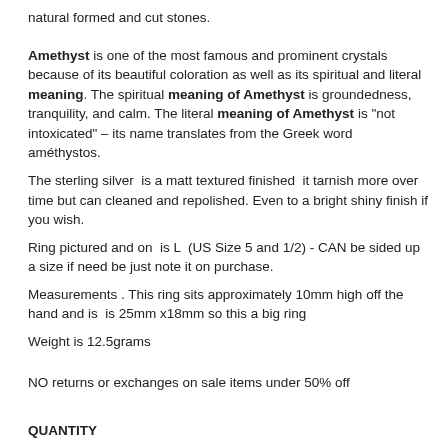natural formed and cut stones.
Amethyst is one of the most famous and prominent crystals because of its beautiful coloration as well as its spiritual and literal meaning. The spiritual meaning of Amethyst is groundedness, tranquility, and calm. The literal meaning of Amethyst is “not intoxicated” – its name translates from the Greek word améthystos.
The sterling silver is a matt textured finished it tarnish more over time but can cleaned and repolished. Even to a bright shiny finish if you wish.
Ring pictured and on is L (US Size 5 and 1/2) - CAN be sided up a size if need be just note it on purchase.
Measurements . This ring sits approximately 10mm high off the hand and is is 25mm x18mm so this a big ring
Weight is 12.5grams
NO returns or exchanges on sale items under 50% off
QUANTITY